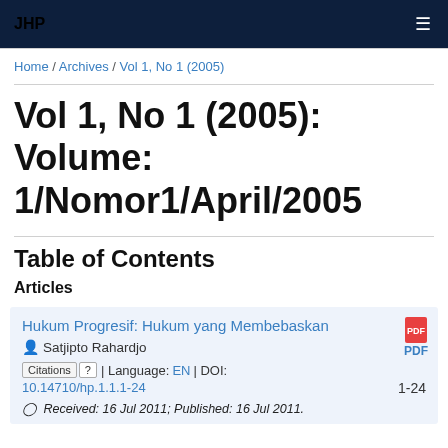JHP
Home / Archives / Vol 1, No 1 (2005)
Vol 1, No 1 (2005): Volume: 1/Nomor1/April/2005
Table of Contents
Articles
Hukum Progresif: Hukum yang Membebaskan
Satjipto Rahardjo
Citations | ? | Language: EN | DOI: 10.14710/hp.1.1.1-24
Received: 16 Jul 2011; Published: 16 Jul 2011.
1-24